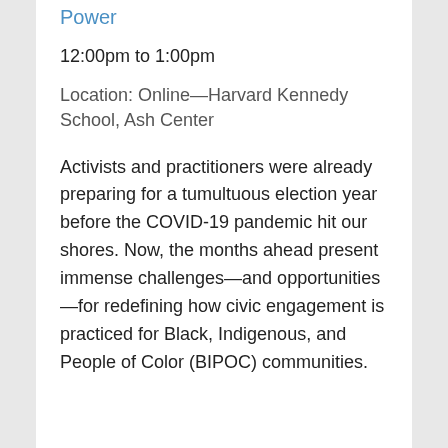Power
12:00pm to 1:00pm
Location: Online—Harvard Kennedy School, Ash Center
Activists and practitioners were already preparing for a tumultuous election year before the COVID-19 pandemic hit our shores. Now, the months ahead present immense challenges—and opportunities—for redefining how civic engagement is practiced for Black, Indigenous, and People of Color (BIPOC) communities.